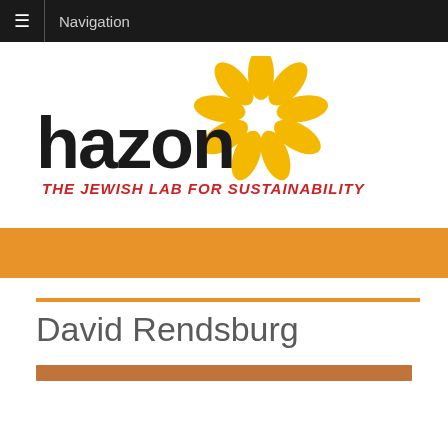Navigation
[Figure (logo): Hazon logo with sunflower graphic and tagline 'THE JEWISH LAB FOR SUSTAINABILITY' in red italic text]
David Rendsburg